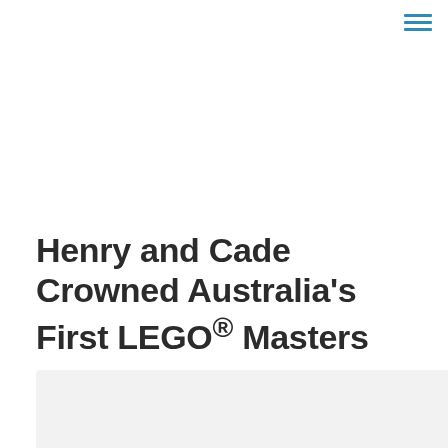≡
Henry and Cade Crowned Australia's First LEGO® Masters
[Figure (photo): A light grey rectangular image placeholder area visible at the bottom of the page, likely a photograph related to LEGO Masters Australia.]